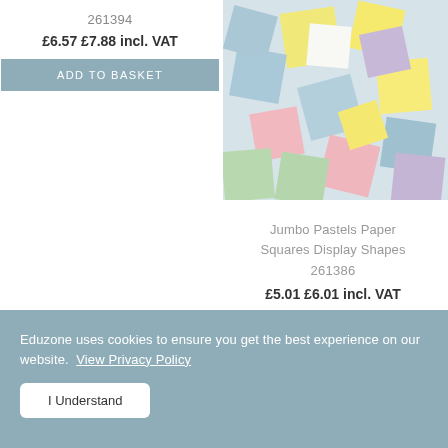261394
£6.57 £7.88 incl. VAT
ADD TO BASKET
[Figure (photo): A pile of colorful pastel paper squares/sticky notes in yellow, blue, pink, green, and lilac colors scattered on a surface]
Jumbo Pastels Paper Squares Display Shapes
261386
£5.01 £6.01 incl. VAT
ADD TO BASKET
Eduzone uses cookies to ensure you get the best experience on our website.  View Privacy Policy
I Understand